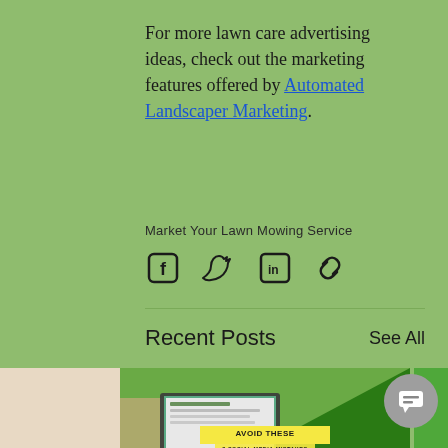For more lawn care advertising ideas, check out the marketing features offered by Automated Landscaper Marketing.
Market Your Lawn Mowing Service
[Figure (infographic): Social share icons: Facebook, Twitter, LinkedIn, and link/copy icon]
Recent Posts
See All
[Figure (photo): Blog post thumbnail showing a laptop on a table outdoors with green lawn background. Yellow banner reads 'AVOID THESE 3 SOCIAL MEDIA MISTAKES']